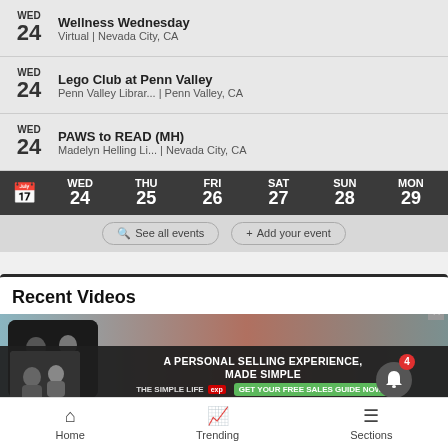WED 24 – Wellness Wednesday – Virtual | Nevada City, CA
WED 24 – Lego Club at Penn Valley – Penn Valley Librar... | Penn Valley, CA
WED 24 – PAWS to READ (MH) – Madelyn Helling Li... | Nevada City, CA
[Figure (screenshot): Calendar day navigation bar showing WED 24, THU 25, FRI 26, SAT 27, SUN 28, MON 29]
See all events   + Add your event
Recent Videos
[Figure (screenshot): Video thumbnail preview with advertisement overlay: A PERSONAL SELLING EXPERIENCE, MADE SIMPLE – THE SIMPLE LIFE exp – GET YOUR FREE SALES GUIDE NOW!]
Home   Trending   Sections